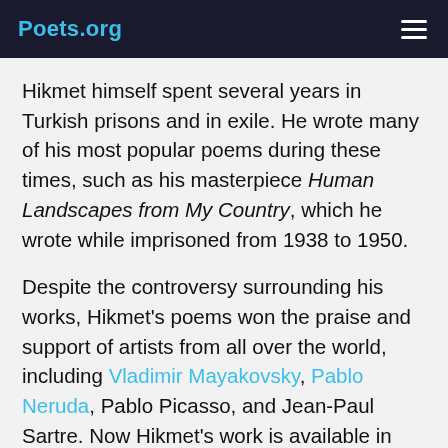Poets.org
Hikmet himself spent several years in Turkish prisons and in exile. He wrote many of his most popular poems during these times, such as his masterpiece Human Landscapes from My Country, which he wrote while imprisoned from 1938 to 1950.
Despite the controversy surrounding his works, Hikmet's poems won the praise and support of artists from all over the world, including Vladimir Mayakovsky, Pablo Neruda, Pablo Picasso, and Jean-Paul Sartre. Now Hikmet's work is available in more than fifty languages, and he is praised as a major figure in modern poetry.